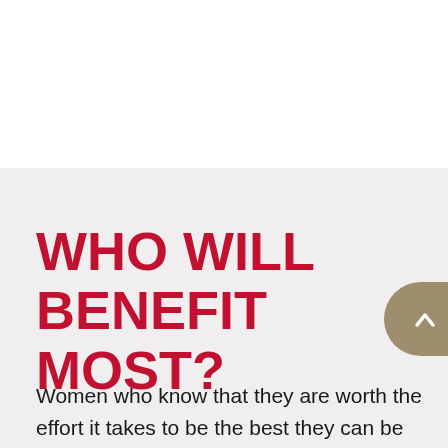WHO WILL BENEFIT MOST?
Women who know that they are worth the effort it takes to be the best they can be